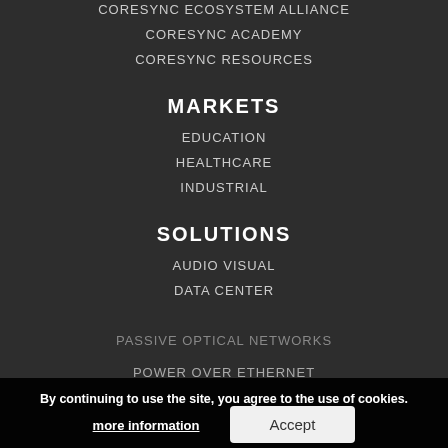CORESYNC ECOSYSTEM ALLIANCE
CORESYNC ACADEMY
CORESYNC RESOURCES
MARKETS
EDUCATION
HEALTHCARE
INDUSTRIAL
SOLUTIONS
AUDIO VISUAL
DATA CENTER
PASSIVE OPTICAL NETWORKS
POWER OVER ETHERNET
By continuing to use the site, you agree to the use of cookies.
more information
Accept